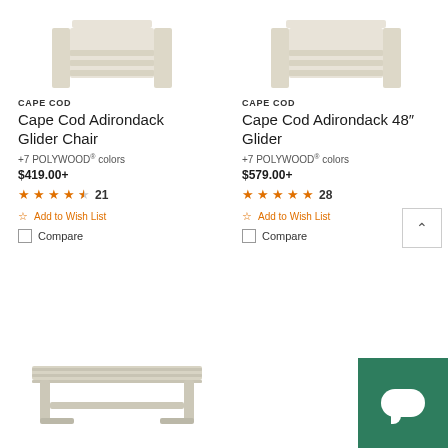[Figure (photo): Top portion of Cape Cod Adirondack Glider Chair in light beige/sand color, partially cropped]
[Figure (photo): Top portion of Cape Cod Adirondack 48 inch Glider in light beige/sand color, partially cropped]
CAPE COD
Cape Cod Adirondack Glider Chair
+7 POLYWOOD® colors
$419.00+
★★★★☆ 21
Add to Wish List
Compare
CAPE COD
Cape Cod Adirondack 48″ Glider
+7 POLYWOOD® colors
$579.00+
★★★★★ 28
Add to Wish List
Compare
[Figure (photo): Cape Cod bench in light beige/sand color, long rectangular bench with slatted top and simple legs]
[Figure (other): Green chat support button with white speech bubble icon]